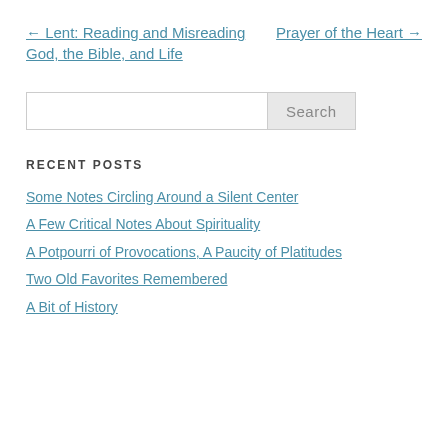← Lent: Reading and Misreading God, the Bible, and Life
Prayer of the Heart →
Search
RECENT POSTS
Some Notes Circling Around a Silent Center
A Few Critical Notes About Spirituality
A Potpourri of Provocations, A Paucity of Platitudes
Two Old Favorites Remembered
A Bit of History